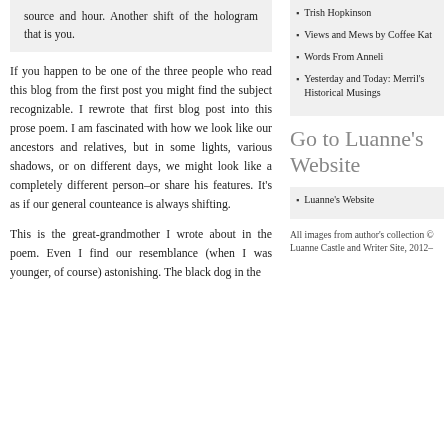source and hour. Another shift of the hologram that is you.
If you happen to be one of the three people who read this blog from the first post you might find the subject recognizable. I rewrote that first blog post into this prose poem. I am fascinated with how we look like our ancestors and relatives, but in some lights, various shadows, or on different days, we might look like a completely different person–or share his features. It's as if our general counteance is always shifting.
This is the great-grandmother I wrote about in the poem. Even I find our resemblance (when I was younger, of course) astonishing. The black dog in the
Trish Hopkinson
Views and Mews by Coffee Kat
Words From Anneli
Yesterday and Today: Merril's Historical Musings
Go to Luanne's Website
Luanne's Website
All images from author's collection © Luanne Castle and Writer Site, 2012–